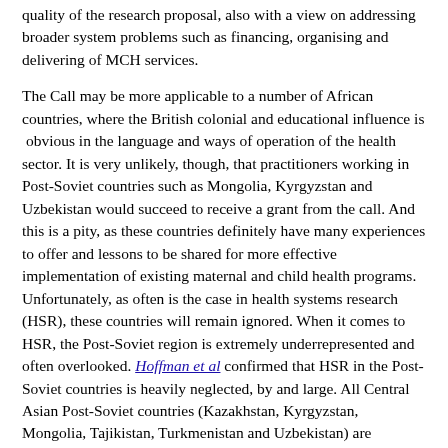quality of the research proposal, also with a view on addressing broader system problems such as financing, organising and delivering of MCH services.
The Call may be more applicable to a number of African countries, where the British colonial and educational influence is obvious in the language and ways of operation of the health sector. It is very unlikely, though, that practitioners working in Post-Soviet countries such as Mongolia, Kyrgyzstan and Uzbekistan would succeed to receive a grant from the call. And this is a pity, as these countries definitely have many experiences to offer and lessons to be shared for more effective implementation of existing maternal and child health programs. Unfortunately, as often is the case in health systems research (HSR), these countries will remain ignored. When it comes to HSR, the Post-Soviet region is extremely underrepresented and often overlooked. Hoffman et al confirmed that HSR in the Post-Soviet countries is heavily neglected, by and large. All Central Asian Post-Soviet countries (Kazakhstan, Kyrgyzstan, Mongolia, Tajikistan, Turkmenistan and Uzbekistan) are included in the list of 25 countries with the fewest (0.16-1.71 publications/100.000 population) number of publications in health over the past 15 years (McKee et al., 2012). However, not knowing about the problem does not mean that the problem does not exist.
As we said before, it would be a pity if research calls from the